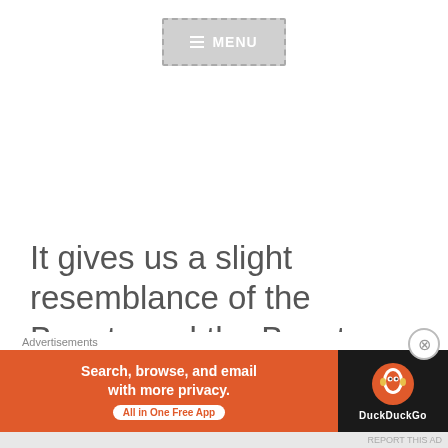[Figure (screenshot): Menu navigation button with hamburger icon and MENU text, gray background with dashed border]
It gives us a slight resemblance of the Beauty and the Beast, even though the plot is quite different. There is a powerful beast who locks the girl, and they fall in love
[Figure (screenshot): DuckDuckGo advertisement banner: 'Search, browse, and email with more privacy. All in One Free App' on orange background with DuckDuckGo logo on dark background]